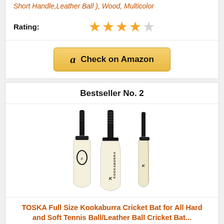Short Handle,Leather Ball ), Wood, Multicolor
Rating:
[Figure (other): 4 out of 5 stars rating shown with golden stars]
[Figure (other): Amazon 'Check on Amazon' button with Amazon logo]
Bestseller No. 2
[Figure (photo): Three Kookaburra cricket bats shown from different angles - front, back and side view with black handles and cream colored blades with Kookaburra logo]
TOSKA Full Size Kookaburra Cricket Bat for All Hard and Soft Tennis Ball/Leather Ball Cricket Bat...